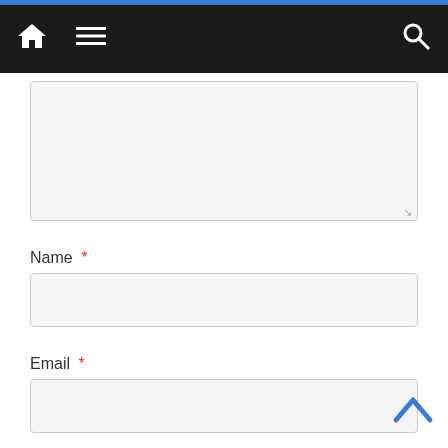[Figure (screenshot): Navigation bar with home icon, hamburger menu icon, and search icon on dark background]
Name *
Email *
Website